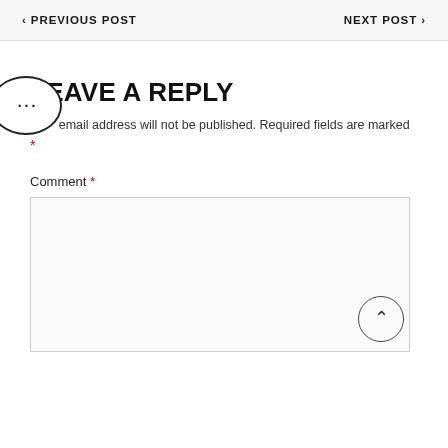< PREVIOUS POST    NEXT POST >
LEAVE A REPLY
Your email address will not be published. Required fields are marked *
Comment *
[Figure (other): Empty comment text area input box]